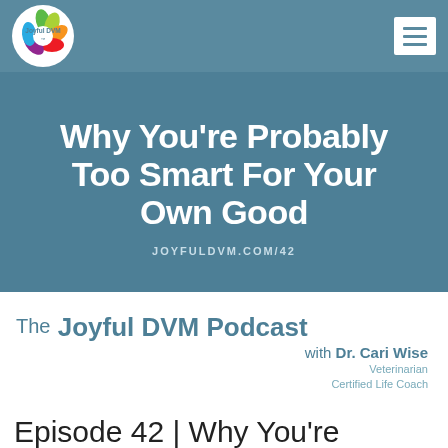[Figure (logo): Joyful DVM circular logo with colorful leaf/teardrop shapes and white border with 'Joyful DVM' text]
Why You're Probably Too Smart For Your Own Good
JOYFULDVM.COM/42
The Joyful DVM Podcast with Dr. Cari Wise Veterinarian Certified Life Coach
Episode 42 | Why You're Probably Too Smart For Your